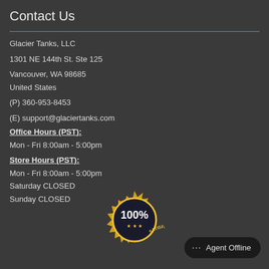Contact Us
Glacier Tanks, LLC
1301 NE 144th St. Ste 125
Vancouver, WA 98685
United States
(P) 360-953-8453
(E) support@glaciertanks.com
Office Hours (PST):
Mon - Fri 8:00am - 5:00pm
Store Hours (PST):
Mon - Fri 8:00am - 5:00pm
Saturday CLOSED
Sunday CLOSED
[Figure (illustration): 100% Satisfaction Guaranteed gold badge/seal]
Agent Offline